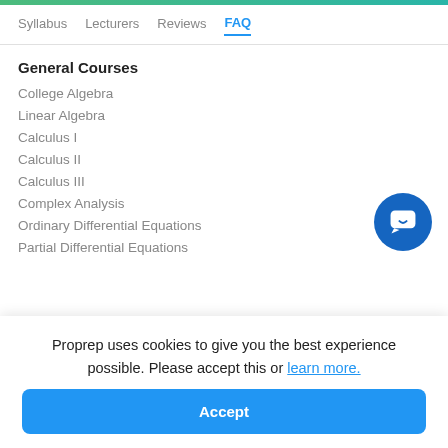Syllabus   Lecturers   Reviews   FAQ
General Courses
College Algebra
Linear Algebra
Calculus I
Calculus II
Calculus III
Complex Analysis
Ordinary Differential Equations
Partial Differential Equations
[Figure (illustration): Blue circular chat/messaging button icon]
Proprep uses cookies to give you the best experience possible. Please accept this or learn more.
Accept